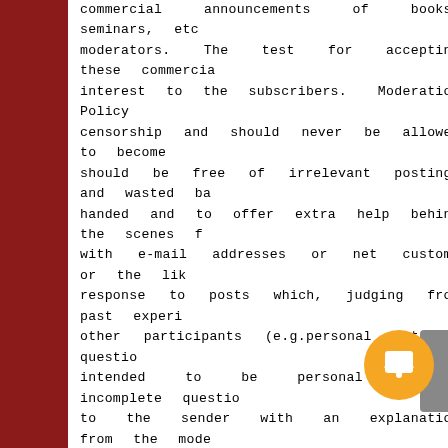commercial announcements of books, seminars, etc moderators. The test for accepting these commercia interest to the subscribers.  Moderation Policy censorship and should never be allowed to become should be free of irrelevant postings and wasted ba handed and to offer extra help behind the scenes f with e-mail addresses or net customs or the lik response to posts which, judging from past experi other participants (e.g.personal attacks, questio intended to be personal e-mail; incomplete questio to the sender with an explanation from the mode message, with the possible exception that long 'ta off-topic  for  soc.genealogy.jewish.methods: soc.genealogy.jewish.methods.   2) Crossposts to crossposts to other relevant discussion groups.  3) the rules imposed  by the mailing list provider. amount of quoted   text; posts that do not cont intensely repetitive posts; polemics.  5) fic are  searching for specific relations in fam if it is of general interest and the specifi fam